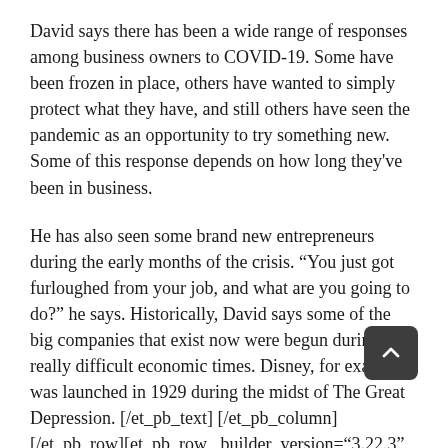David says there has been a wide range of responses among business owners to COVID-19. Some have been frozen in place, others have wanted to simply protect what they have, and still others have seen the pandemic as an opportunity to try something new. Some of this response depends on how long they've been in business.
He has also seen some brand new entrepreneurs during the early months of the crisis. "You just got furloughed from your job, and what are you going to do?" he says. Historically, David says some of the big companies that exist now were begun during really difficult economic times. Disney, for example, was launched in 1929 during the midst of The Great Depression. [/et_pb_text][/et_pb_column][/et_pb_row][et_pb_row _builder_version="3.22.3" background_size="initial" background_position="top_left" background_repeat="repeat"][et_pb_column type="4_4" _builder_version="3.0.47"][et_pb_image